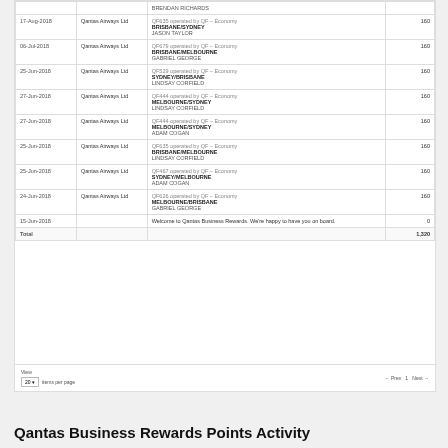| Date | Provider | Description | Points |
| --- | --- | --- | --- |
|  |  | BRENDAN RICHARDS |  |
| 17-Aug-2018 | Qantas Airways Ltd | QF635 operated by QF – Economy
BRISBANE/SYDNEY
JASON TAYLOR | 160 |
| 06-Jul-2018 | Qantas Airways Ltd | QF679 operated by QF – Economy
BRISBANE/MELBOURNE
GABRIEL GEORGE | 160 |
| 25-Jun-2018 | Qantas Airways Ltd | QF529 operated by QF – Economy
SYDNEY/BRISBANE
LINDSAY CORFIELD | 160 |
| 27-Jun-2018 | Qantas Airways Ltd | QF444 operated by QF – Economy
MELBOURNE/SYDNEY
LINDSAY CORFIELD | 160 |
| 27-Jun-2018 | Qantas Airways Ltd | QF444 operated by QF – Economy
MELBOURNE/SYDNEY
ADAM COGAN | 160 |
| 25-Jun-2018 | Qantas Airways Ltd | QF635 operated by QF – Economy
BRISBANE/MELBOURNE
LINDSAY CORFIELD | 160 |
| 25-Jun-2018 | Qantas Airways Ltd | QF467 operated by QF – Economy
SYDNEY/MELBOURNE
ADAM COGAN | 160 |
| 24-Jun-2018 | Qantas Airways Ltd | QF626 operated by QF – Economy
MELBOURNE/BRISBANE
GABRIEL GEORGE | 160 |
| 15-Jun-2018 |  | Welcome to Qantas Business Rewards. We're happy to have you on board. | 0 |
| Total |  |  | 1,320 |
View
20 items per page
← Prev 1 Next →
EXPORT AS CSV    CLAIM MISSING POINTS
Qantas Business Rewards Points Activity